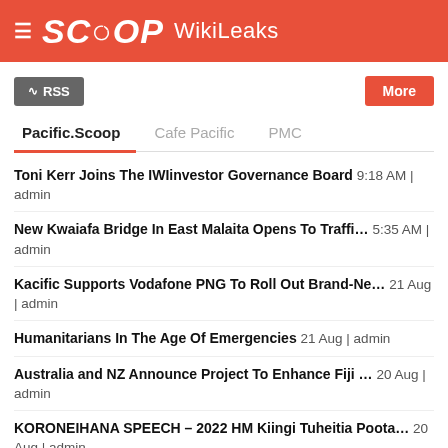SCOOP WikiLeaks
RSS
More
Pacific.Scoop | Cafe Pacific | PMC
Toni Kerr Joins The IWIinvestor Governance Board 9:18 AM | admin
New Kwaiafa Bridge In East Malaita Opens To Traffi... 5:35 AM | admin
Kacific Supports Vodafone PNG To Roll Out Brand-Ne... 21 Aug | admin
Humanitarians In The Age Of Emergencies 21 Aug | admin
Australia and NZ Announce Project To Enhance Fiji ... 20 Aug | admin
KORONEIHANA SPEECH – 2022 HM Kiingi Tuheitia Poota... 20 Aug | admin
Kiingitanga Urges Leaders To Change Course In Post... 20 Aug | admin
RSS
News Alerts
More